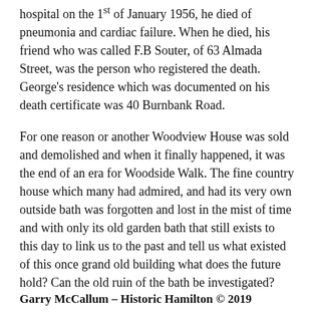hospital on the 1st of January 1956, he died of pneumonia and cardiac failure. When he died, his friend who was called F.B Souter, of 63 Almada Street, was the person who registered the death. George's residence which was documented on his death certificate was 40 Burnbank Road.
For one reason or another Woodview House was sold and demolished and when it finally happened, it was the end of an era for Woodside Walk. The fine country house which many had admired, and had its very own outside bath was forgotten and lost in the mist of time and with only its old garden bath that still exists to this day to link us to the past and tell us what existed of this once grand old building what does the future hold? Can the old ruin of the bath be investigated?
Garry McCallum – Historic Hamilton © 2019